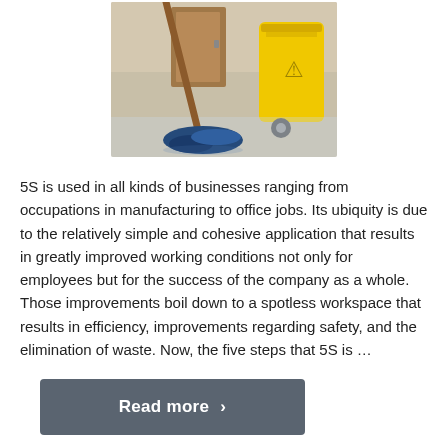[Figure (photo): Photo of a blue mop head on a shiny floor with a yellow mop bucket in the background, in a hallway with a wooden door.]
5S is used in all kinds of businesses ranging from occupations in manufacturing to office jobs. Its ubiquity is due to the relatively simple and cohesive application that results in greatly improved working conditions not only for employees but for the success of the company as a whole. Those improvements boil down to a spotless workspace that results in efficiency, improvements regarding safety, and the elimination of waste. Now, the five steps that 5S is …
Read more ›
5S, Lean, Lean Manufacturing